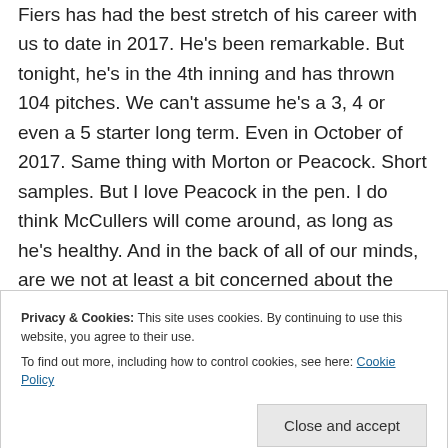Fiers has had the best stretch of his career with us to date in 2017. He's been remarkable. But tonight, he's in the 4th inning and has thrown 104 pitches. We can't assume he's a 3, 4 or even a 5 starter long term. Even in October of 2017. Same thing with Morton or Peacock. Short samples. But I love Peacock in the pen. I do think McCullers will come around, as long as he's healthy. And in the back of all of our minds, are we not at least a bit concerned about the health of Keuchel and McHugh?
Privacy & Cookies: This site uses cookies. By continuing to use this website, you agree to their use. To find out more, including how to control cookies, see here: Cookie Policy
especially in the outfield. Let's use some of it to